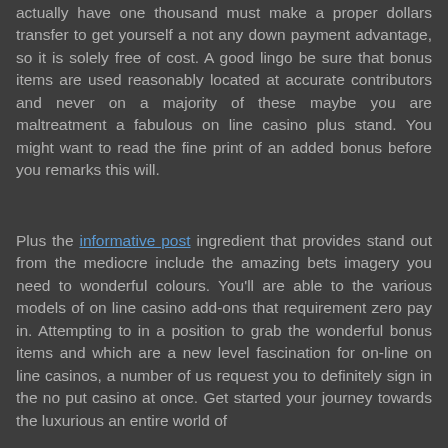actually have one thousand must make a proper dollars transfer to get yourself a not any down payment advantage, so it is solely free of cost. A good lingo be sure that bonus items are used reasonably located at accurate contributors and never on a majority of these maybe you are maltreatment a fabulous on line casino plus stand. You might want to read the fine print of an added bonus before you remarks this will.
Plus the informative post ingredient that provides stand out from the mediocre include the amazing bets imagery you need to wonderful colours. You'll are able to the various models of on line casino add-ons that requirement zero pay in. Attempting to in a position to grab the wonderful bonus items and which are a new level fascination for on-line on line casinos, a number of us request you to definitely sign in the no put casino at once. Get started your journey towards the luxurious an entire world of